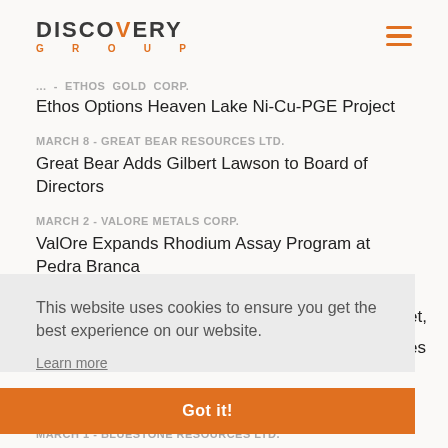DISCOVERY GROUP
... - ETHOS GOLD CORP.
Ethos Options Heaven Lake Ni-Cu-PGE Project
MARCH 8 - GREAT BEAR RESOURCES LTD.
Great Bear Adds Gilbert Lawson to Board of Directors
MARCH 2 - VALORE METALS CORP.
ValOre Expands Rhodium Assay Program at Pedra Branca
This website uses cookies to ensure you get the best experience on our website.
Learn more
Got it!
MARCH 1 - BLUESTONE RESOURCES LTD.